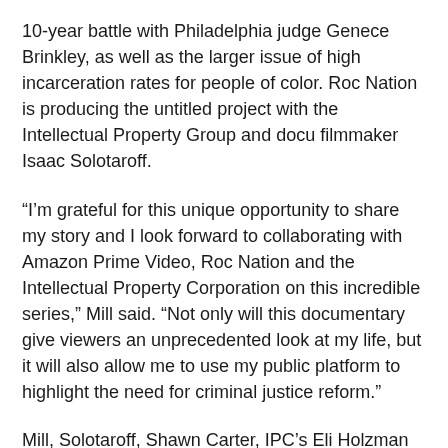10-year battle with Philadelphia judge Genece Brinkley, as well as the larger issue of high incarceration rates for people of color. Roc Nation is producing the untitled project with the Intellectual Property Group and docu filmmaker Isaac Solotaroff.
“I’m grateful for this unique opportunity to share my story and I look forward to collaborating with Amazon Prime Video, Roc Nation and the Intellectual Property Corporation on this incredible series,” Mill said. “Not only will this documentary give viewers an unprecedented look at my life, but it will also allow me to use my public platform to highlight the need for criminal justice reform.”
Mill, Solotaroff, Shawn Carter, IPC’s Eli Holzman and Aaron Saidman and Paul Solotaroff are executive producers of the series, which will feature original music from Mill.